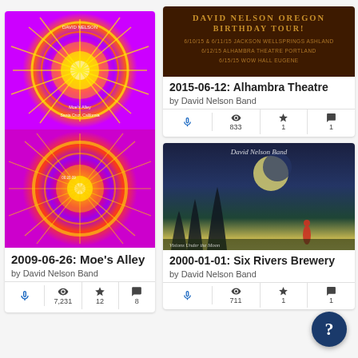[Figure (photo): Card with psychedelic mandala concert poster art for 2009-06-26 Moe's Alley show by David Nelson Band, Santa Cruz California. Two stacked colorful kaleidoscopic images.]
2009-06-26: Moe's Alley
by David Nelson Band
7,231 views, 12 favorites, 8 comments
[Figure (photo): Card showing David Nelson Oregon Birthday Tour poster with venue listings including Alhambra Theatre Portland, dated 2015]
2015-06-12: Alhambra Theatre
by David Nelson Band
833 views, 1 favorite, 1 comment
[Figure (photo): Card showing David Nelson Band album art with dark blue/green painting of figures and trees under moon, titled Visions Under the Moon]
2000-01-01: Six Rivers Brewery
by David Nelson Band
711 views, 1 favorite, 1 comment